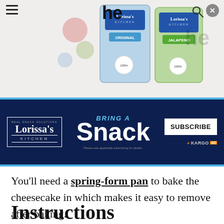Navigation header with hamburger menu and search icon
[Figure (photo): Product image showing two Lorissa's Kitchen snack packages - Original and Jalapeno flavors, with colorful food items in background]
[Figure (infographic): Lorissa's Kitchen advertisement banner with dark navy background, blue border, showing logo, 'BRING A Snack' text, Subscribe button, and Kargo Ad label]
You'll need a spring-form pan to bake the cheesecake in which makes it easy to remove after baking.
Instructions